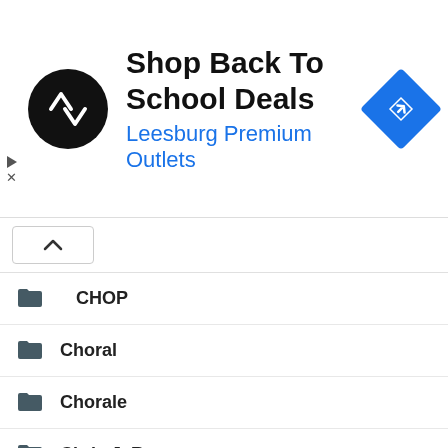[Figure (infographic): Advertisement banner: Shop Back To School Deals - Leesburg Premium Outlets, with a black circular logo and blue navigation diamond icon]
CHOP
Choral
Chorale
Chris J. Russo
Christian
Christian Cannabis
Christianity
Christianity And Weed
Christmas
Christmas 2021